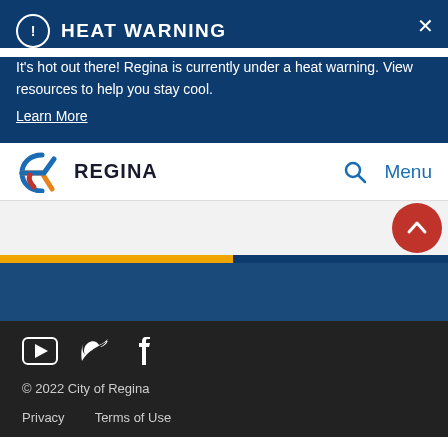HEAT WARNING
It's hot out there! Regina is currently under a heat warning. View resources to help you stay cool.
Learn More
[Figure (logo): City of Regina logo with stylized R in orange/blue/red colors and REGINA text]
Menu
[Figure (other): Red circle scroll-to-top button with upward chevron arrow]
[Figure (other): Social media icons: YouTube, Twitter, Facebook]
© 2022 City of Regina
Privacy   Terms of Use